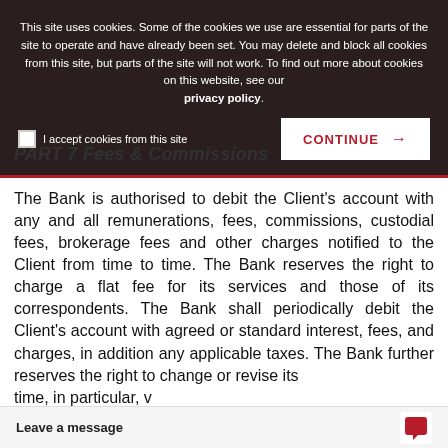This site uses cookies. Some of the cookies we use are essential for parts of the site to operate and have already been set. You may delete and block all cookies from this site, but parts of the site will not work. To find out more about cookies on this website, see our privacy policy.
I accept cookies from this site
CONTINUE →
PART 7 Fees & Commissions
The Bank is authorised to debit the Client's account with any and all remunerations, fees, commissions, custodial fees, brokerage fees and other charges notified to the Client from time to time. The Bank reserves the right to charge a flat fee for its services and those of its correspondents. The Bank shall periodically debit the Client's account with agreed or standard interest, fees, and charges, in addition any applicable taxes. The Bank further reserves the right to change or revise its time, in particular, v
Leave a message